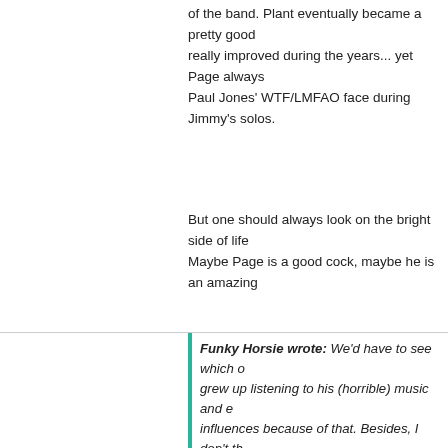of the band. Plant eventually became a pretty good really improved during the years... yet Page always Paul Jones' WTF/LMFAO face during Jimmy's solos.
But one should always look on the bright side of life Maybe Page is a good cock, maybe he is an amazing
Holly2003
13.01.2010 12:35
Funky Horsie wrote: We'd have to see which grew up listening to his (horrible) music and e influences because of that. Besides, I don't th say OK, LED ZEPPELIN IS CRAP, because it's n won't change people's minds. On the other h much as I want and piss idiots off, which I lo There is a HUGE difference between being so during the early years) and being an utter dis never picked up a guitar. I also think his songs his bandmates didn't kick him out of the band. singer. John Paul Jones is great and Bonzo rea always managed to suck. I mean... you can se during Jimmy's solos. But one should always l is a good cock, maybe he is an amazing tenn